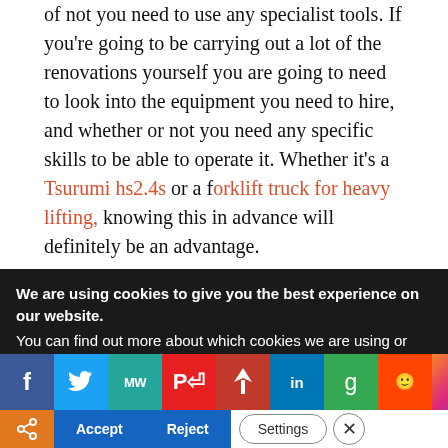of not you need to use any specialist tools. If you're going to be carrying out a lot of the renovations yourself you are going to need to look into the equipment you need to hire, and whether or not you need any specific skills to be able to operate it. Whether it's a Tsurumi hs2.4s or a forklift truck for heavy lifting, knowing this in advance will definitely be an advantage.
Do You Need To Hire Any Help?
If you think the project is something you're not going to
We are using cookies to give you the best experience on our website.
You can find out more about which cookies we are using or
[Figure (infographic): Social media sharing bar with icons for Facebook, Twitter, MeWe, Parler, Flashpoint, LinkedIn, Google, Reddit, Instagram, and a Tweet label]
[Figure (infographic): Cookie consent buttons bar with share icon, Accept, Reject, Settings, and close X button]